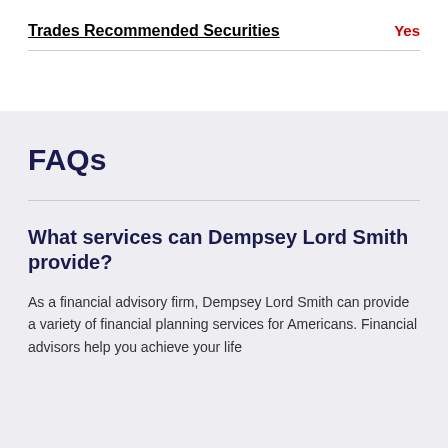Trades Recommended Securities
Yes
FAQs
What services can Dempsey Lord Smith provide?
As a financial advisory firm, Dempsey Lord Smith can provide a variety of financial planning services for Americans. Financial advisors help you achieve your life